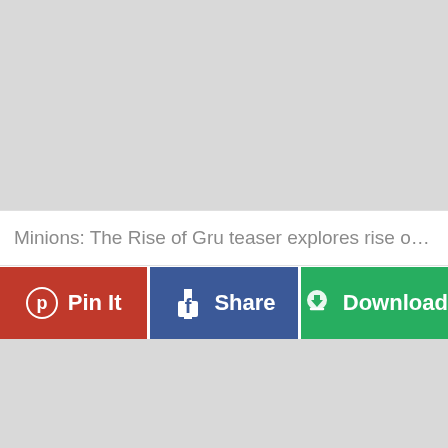[Figure (other): Gray placeholder image area at top of page]
Minions: The Rise of Gru teaser explores rise of Despic…
[Figure (infographic): Three action buttons: Pin It (red), Share (blue/Facebook), Download (green)]
[Figure (other): Gray placeholder image area at bottom of page]